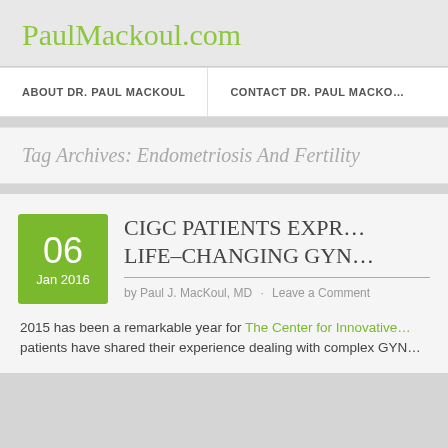PaulMackoul.com
ABOUT DR. PAUL MACKOUL
CONTACT DR. PAUL MACKO...
Tag Archives: Endometriosis And Fertility
06 Jan 2016
CIGC PATIENTS EXPR... LIFE-CHANGING GYN...
by Paul J. MacKoul, MD · Leave a Comment
2015 has been a remarkable year for The Center for Innovative... patients have shared their experience dealing with complex GYN...